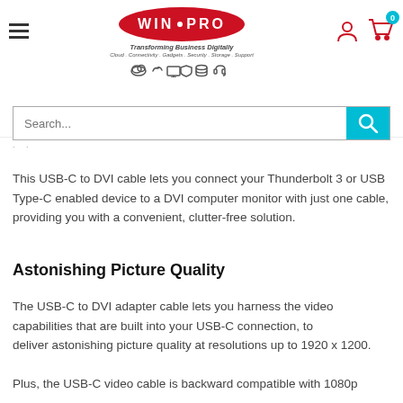WIN PRO - Transforming Business Digitally - Cloud. Connectivity. Gadgets. Security. Storage. Support
Search...
This USB-C to DVI cable lets you connect your Thunderbolt 3 or USB Type-C enabled device to a DVI computer monitor with just one cable, providing you with a convenient, clutter-free solution.
Astonishing Picture Quality
The USB-C to DVI adapter cable lets you harness the video capabilities that are built into your USB-C connection, to deliver astonishing picture quality at resolutions up to 1920 x 1200.

Plus, the USB-C video cable is backward compatible with 1080p